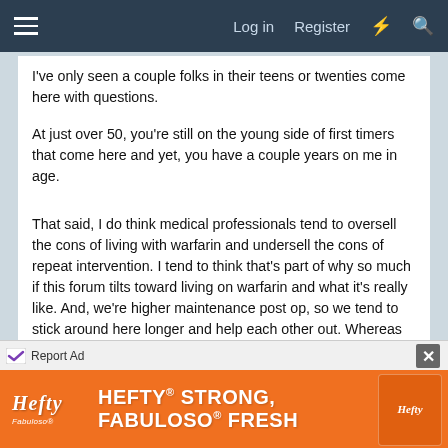Log in  Register
I've only seen a couple folks in their teens or twenties come here with questions.
At just over 50, you're still on the young side of first timers that come here and yet, you have a couple years on me in age.
That said, I do think medical professionals tend to oversell the cons of living with warfarin and undersell the cons of repeat intervention. I tend to think that's part of why so much if this forum tilts toward living on warfarin and what it's really like. And, we're higher maintenance post op, so we tend to stick around here longer and help each other out. Whereas tissue valvers do as advertised. They're lower maintenance interventions and we sit. They to
[Figure (screenshot): Advertisement banner for Hefty and Fabuloso products with text 'HEFTY STRONG, FABULOSO FRESH' on orange background]